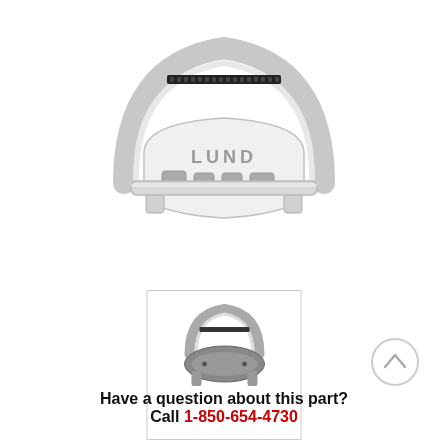[Figure (photo): Main product photo of a Lund stainless steel bull bar / brush guard with LED light bar, viewed from front-top angle, on white background]
[Figure (photo): Thumbnail photo of the same Lund bull bar viewed from below/underside angle, inside a light gray bordered box]
Have a question about this part?
Call 1-850-654-4730